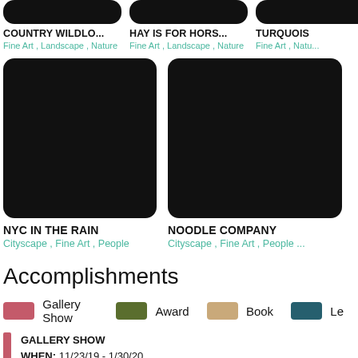[Figure (photo): Thumbnail image placeholder for COUNTRY WILDFLOWERS artwork (black rounded rectangle)]
COUNTRY WILFLO...
Fine Art , Landscape , Nature
[Figure (photo): Thumbnail image placeholder for HAY IS FOR HORSES artwork (black rounded rectangle)]
HAY IS FOR HORS...
Fine Art , Landscape , Nature
[Figure (photo): Thumbnail image placeholder for TURQUOIS artwork (black rounded rectangle, partially visible)]
TURQUOIS
Fine Art , Natu...
[Figure (photo): Thumbnail image placeholder for NYC IN THE RAIN artwork (large black rounded rectangle)]
NYC IN THE RAIN
Cityscape , Fine Art , People
[Figure (photo): Thumbnail image placeholder for NOODLE COMPANY artwork (large black rounded rectangle)]
NOODLE COMPANY
Cityscape , Fine Art , People ...
Accomplishments
Gallery Show   Award   Book   Le...
GALLERY SHOW
WHEN: 11/23/19 - 1/30/20
ADDRESS: Madison-Morgan Cultural Center, 434 South Main Stree...